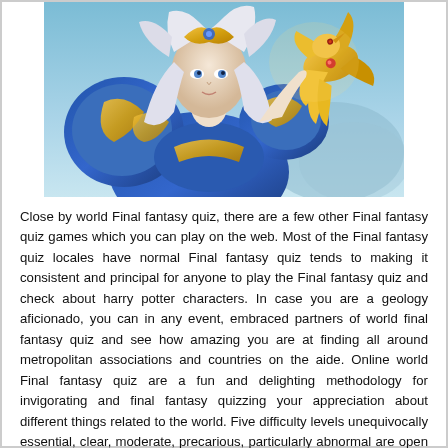[Figure (illustration): A fantasy game character — a female warrior with blue armor and gold accents, holding a golden bird-like creature, with silver/white hair, rendered in a digital art style.]
Close by world Final fantasy quiz, there are a few other Final fantasy quiz games which you can play on the web. Most of the Final fantasy quiz locales have normal Final fantasy quiz tends to making it consistent and principal for anyone to play the Final fantasy quiz and check about harry potter characters. In case you are a geology aficionado, you can in any event, embraced partners of world final fantasy quiz and see how amazing you are at finding all around metropolitan associations and countries on the aide. Online world Final fantasy quiz are a fun and delighting methodology for invigorating and final fantasy quizzing your appreciation about different things related to the world. Five difficulty levels unequivocally essential, clear, moderate, precarious, particularly abnormal are open which can be set per question.